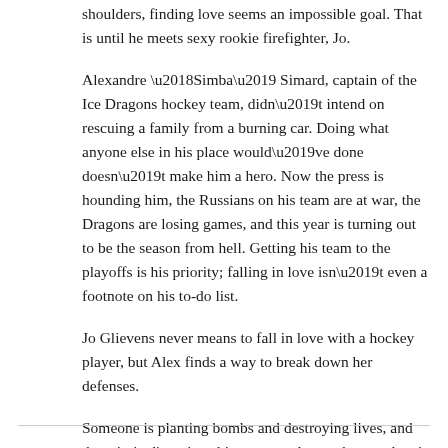shoulders, finding love seems an impossible goal. That is until he meets sexy rookie firefighter, Jo.
Alexandre ‘Simba’ Simard, captain of the Ice Dragons hockey team, didn’t intend on rescuing a family from a burning car. Doing what anyone else in his place would’ve done doesn’t make him a hero. Now the press is hounding him, the Russians on his team are at war, the Dragons are losing games, and this year is turning out to be the season from hell. Getting his team to the playoffs is his priority; falling in love isn’t even a footnote on his to-do list.
Jo Glievens never means to fall in love with a hockey player, but Alex finds a way to break down her defenses.
Someone is planting bombs and destroying lives, and the criminal's actions hit way too close to home when it seems the Dragons hockey team is the target.